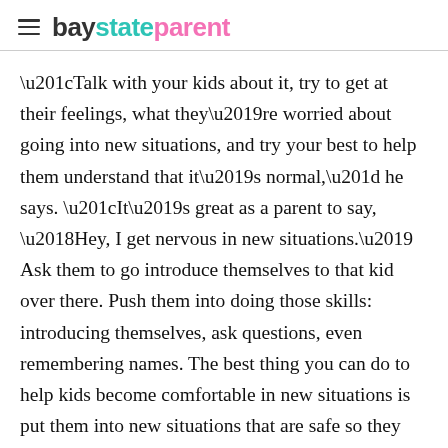baystateparent
“Talk with your kids about it, try to get at their feelings, what they’re worried about going into new situations, and try your best to help them understand that it’s normal,” he says. “It’s great as a parent to say, ‘Hey, I get nervous in new situations.’ Ask them to go introduce themselves to that kid over there. Push them into doing those skills: introducing themselves, ask questions, even remembering names. The best thing you can do to help kids become comfortable in new situations is put them into new situations that are safe so they can learn from them rather than feeling miserable.”
Another key reminder: Uneasiness is temporary.